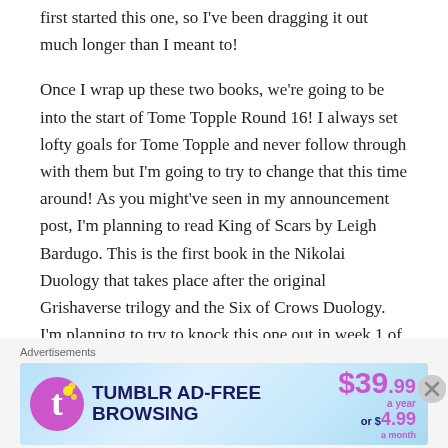first started this one, so I've been dragging it out much longer than I meant to!
Once I wrap up these two books, we're going to be into the start of Tome Topple Round 16! I always set lofty goals for Tome Topple and never follow through with them but I'm going to try to change that this time around! As you might've seen in my announcement post, I'm planning to read King of Scars by Leigh Bardugo. This is the first book in the Nikolai Duology that takes place after the original Grishaverse trilogy and the Six of Crows Duology. I'm planning to try to knock this one out in week 1 of Tome Topple then
Advertisements
[Figure (other): Tumblr Ad-Free Browsing advertisement banner showing $39.99 a year or $4.99 a month with Tumblr logo]